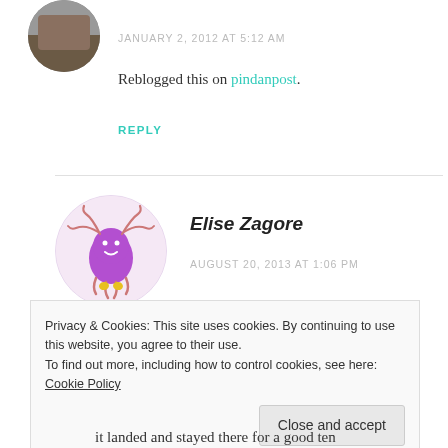[Figure (photo): Circular avatar image of a person, partially visible at top left]
JANUARY 2, 2012 AT 5:12 AM
Reblogged this on pindanpost.
REPLY
[Figure (illustration): Circular avatar with cartoon purple monster/octopus illustration]
Elise Zagore
AUGUST 20, 2013 AT 1:06 PM
Privacy & Cookies: This site uses cookies. By continuing to use this website, you agree to their use.
To find out more, including how to control cookies, see here: Cookie Policy
Close and accept
it landed and stayed there for a good ten